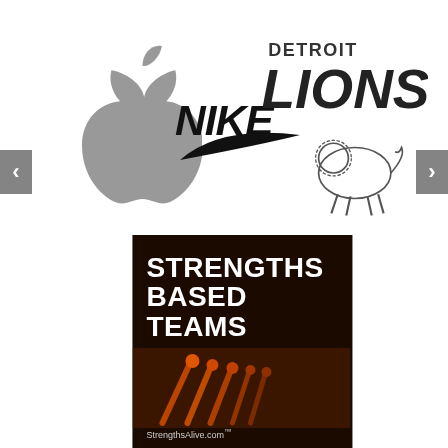[Figure (logo): Apple logo (gray), Nike swoosh logo (black), Detroit Lions logo (gray/black) arranged in a row with left and right navigation arrows on sides]
[Figure (photo): Book cover for 'Strengths Based Teams' by StrengthsAlive.com - dark/black background with white bold text title, subtitle 'Why Leveraging Strengths Accelerates Business Results', and image of chess pieces at bottom]